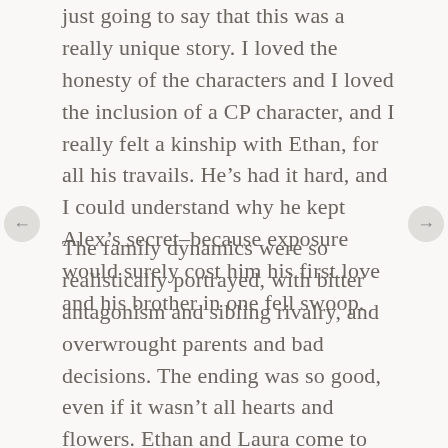just going to say that this was a really unique story. I loved the honesty of the characters and I loved the inclusion of a CP character, and I really felt a kinship with Ethan, for all his travails. He's had it hard, and I could understand why he kept Alex's secret–because exposure would surely cost him his first love and his brother in one fell swoop.
The family dynamics were so realistically portrayed, with bitter antagonism and sibling rivalry, and overwrought parents and bad decisions. The ending was so good, even if it wasn't all hearts and flowers. Ethan and Laura come to honest terms with each other, and there is hope for each of them to have happiness. Alex and Nikki both have their situation fully resolved, in a way that's not storybook and not fairy tale. All bad situations leave a stain, and